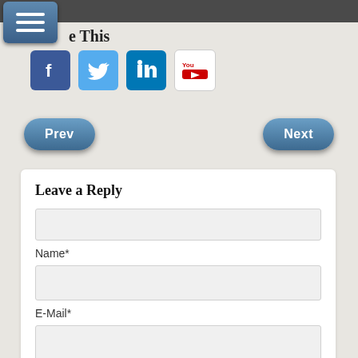e This
[Figure (screenshot): Social media icons: Facebook, Twitter, LinkedIn, YouTube]
Prev
Next
Leave a Reply
Name*
E-Mail*
Website